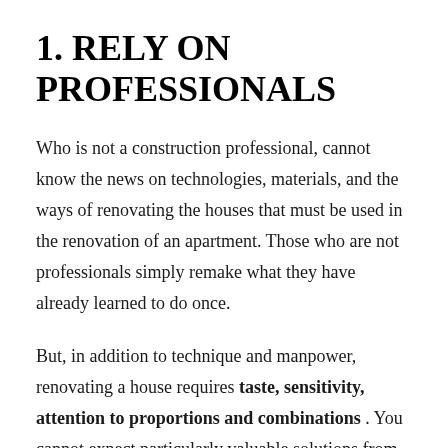1. RELY ON PROFESSIONALS
Who is not a construction professional, cannot know the news on technologies, materials, and the ways of renovating the houses that must be used in the renovation of an apartment. Those who are not professionals simply remake what they have already learned to do once.
But, in addition to technique and manpower, renovating a house requires taste, sensitivity, attention to proportions and combinations . You cannot expect particularly valuable solutions from